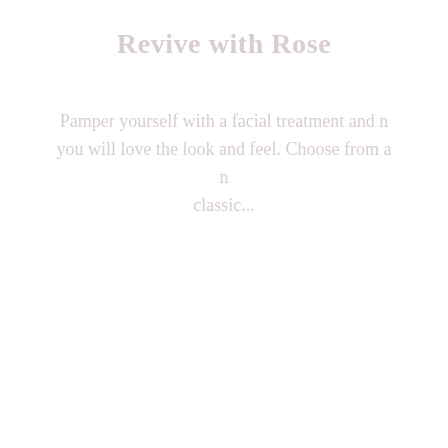Revive with Rose
Pamper yourself with a facial treatment and nyou will love the look and feel. Choose from a nclassic...